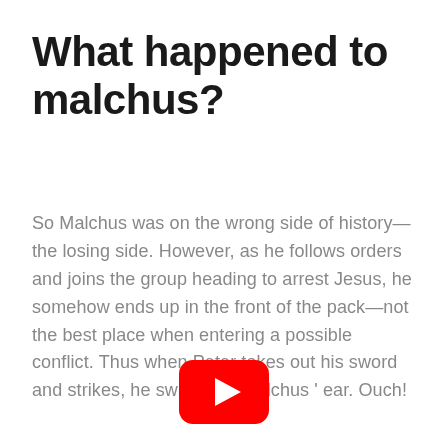What happened to malchus?
So Malchus was on the wrong side of history—the losing side. However, as he follows orders and joins the group heading to arrest Jesus, he somehow ends up in the front of the pack—not the best place when entering a possible conflict. Thus when Peter takes out his sword and strikes, he swipes off Malchus ' ear. Ouch!
[Figure (logo): YouTube play button logo — red rounded rectangle with white triangle play arrow]